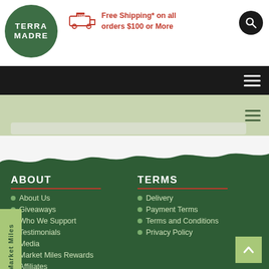[Figure (logo): Terra Madre circular green logo with white text]
Free Shipping* on all orders $100 or More
[Figure (illustration): Hamburger menu icon (black bar, white stripes)]
[Figure (illustration): Green wavy landscape divider]
ABOUT
About Us
Giveaways
Who We Support
Testimonials
Media
Market Miles Rewards
Affiliates
TERMS
Delivery
Payment Terms
Terms and Conditions
Privacy Policy